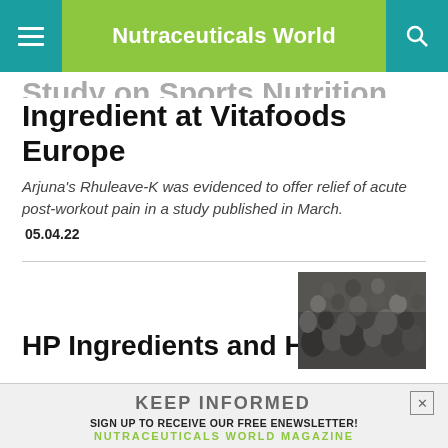Nutraceuticals World
Study on Sports Nutrition Ingredient at Vitafoods Europe
Arjuna's Rhuleave-K was evidenced to offer relief of acute post-workout pain in a study published in March.
05.04.22
[Figure (photo): Crowd of people at a trade show or conference event]
HP Ingredients and H&AD to
KEEP INFORMED
SIGN UP TO RECEIVE OUR FREE ENEWSLETTER!
NUTRACEUTICALS WORLD MAGAZINE